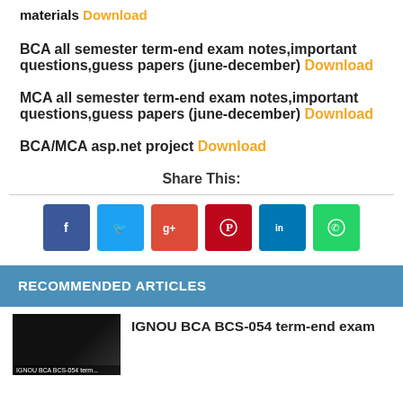materials Download
BCA all semester term-end exam notes,important questions,guess papers (june-december) Download
MCA all semester term-end exam notes,important questions,guess papers (june-december) Download
BCA/MCA asp.net project Download
Share This:
[Figure (infographic): Social sharing buttons: Facebook (blue), Twitter (light blue), Google+ (red), Pinterest (dark red), LinkedIn (dark blue), WhatsApp (green)]
RECOMMENDED ARTICLES
IGNOU BCA BCS-054 term-end exam